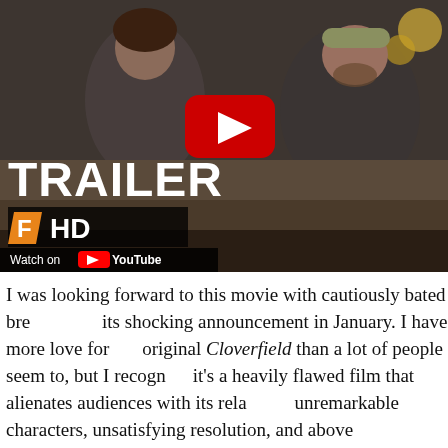[Figure (screenshot): YouTube video thumbnail for a movie trailer. Shows two people sitting on a couch - a woman with dark hair holding a book/magazine, and a bearded man with a cap holding what appears to be a DVD box with his arm in a sling. A large red YouTube play button is in the center. White bold text reads 'TRAILER' at the bottom left, with a Fandango logo and 'HD' text below. A 'Watch on YouTube' bar appears at the very bottom left.]
I was looking forward to this movie with cautiously bated breath since its shocking announcement in January. I have more love for the original Cloverfield than a lot of people seem to, but I recognize it's a heavily flawed film that alienates audiences with its relatively unremarkable characters, unsatisfying resolution, and above all, camerawork so jittery it easily induces nausea and headaches.